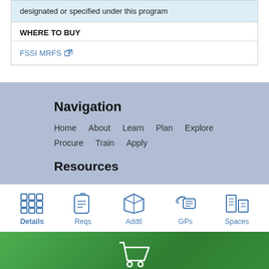designated or specified under this program
WHERE TO BUY
FSSI MRFS
Navigation
Home   About   Learn   Plan   Explore   Procure   Train   Apply
Resources
[Figure (infographic): Navigation icon bar with 5 icons: Details, Reqs, Addtl, GPs, Spaces]
[Figure (infographic): Green footer with shopping cart icon and text: View products for this workspace]